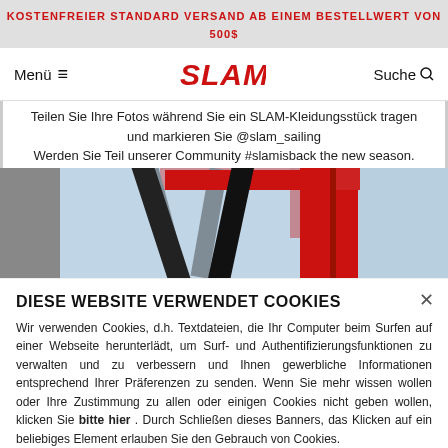KOSTENFREIER STANDARD VERSAND AB EINEM BESTELLWERT VON 500$
Menü  ≡   Suche 🔍
Teilen Sie Ihre Fotos während Sie ein SLAM-Kleidungsstück tragen und markieren Sie @slam_sailing
Werden Sie Teil unserer Community #slamisback the new season.
[Figure (photo): Close-up photo of red sailing equipment/rigging with black textile straps against a blue sky background.]
DIESE WEBSITE VERWENDET COOKIES
Wir verwenden Cookies, d.h. Textdateien, die Ihr Computer beim Surfen auf einer Webseite herunterlädt, um Surf- und Authentifizierungsfunktionen zu verwalten und zu verbessern und Ihnen gewerbliche Informationen entsprechend Ihrer Präferenzen zu senden. Wenn Sie mehr wissen wollen oder Ihre Zustimmung zu allen oder einigen Cookies nicht geben wollen, klicken Sie bitte hier . Durch Schließen dieses Banners, das Klicken auf ein beliebiges Element erlauben Sie den Gebrauch von Cookies.
AKZEPTIEREN UND FORTFAHREN